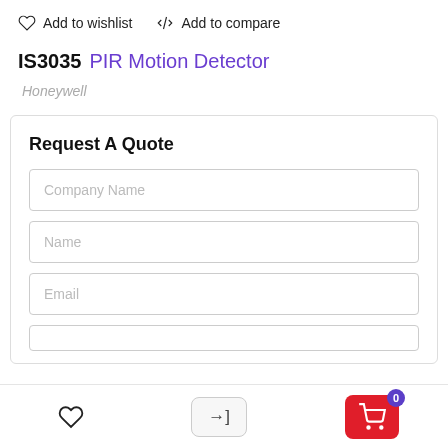Add to wishlist   Add to compare
IS3035 PIR Motion Detector
Honeywell
Request A Quote
Company Name
Name
Email